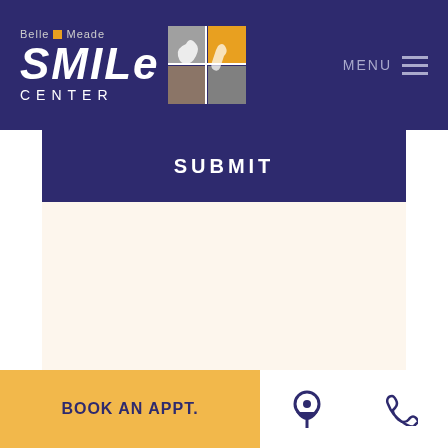[Figure (logo): Belle Meade Smile Center logo with stylized tooth graphic in gold and gray squares]
MENU
SUBMIT
BOOK AN APPT.